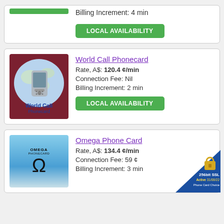Billing Increment: 4 min
LOCAL AVAILABILITY
[Figure (illustration): World Call Phonecard product image showing a globe with a mobile phone and blue/maroon background, with 'World Call Phonecard' text]
World Call Phonecard
Rate, A$: 120.4 ¢/min
Connection Fee: Nil
Billing Increment: 2 min
LOCAL AVAILABILITY
[Figure (illustration): Omega Phone Card product image showing sky background with OMEGA PHONECARD text and large Omega symbol]
Omega Phone Card
Rate, A$: 134.4 ¢/min
Connection Fee: 59 ¢
Billing Increment: 3 min
[Figure (illustration): 256bit SSL Active 31/08/22 Phone Card Choice security badge]